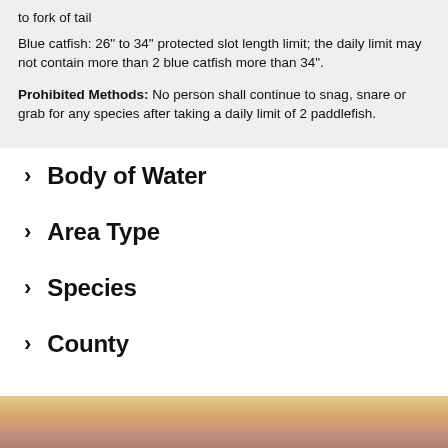to fork of tail Blue catfish: 26" to 34" protected slot length limit; the daily limit may not contain more than 2 blue catfish more than 34".
Prohibited Methods: No person shall continue to snag, snare or grab for any species after taking a daily limit of 2 paddlefish.
Body of Water
Area Type
Species
County
[Figure (photo): Sunset or twilight sky over water, warm orange and pink tones]